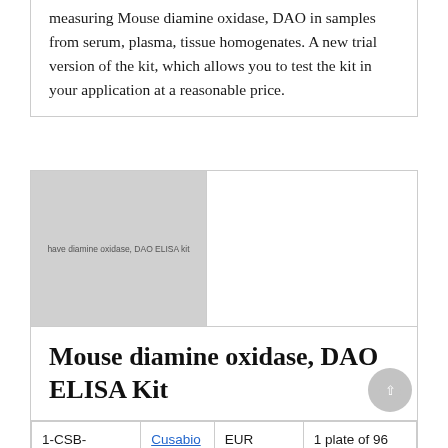measuring Mouse diamine oxidase, DAO in samples from serum, plasma, tissue homogenates. A new trial version of the kit, which allows you to test the kit in your application at a reasonable price.
[Figure (photo): Placeholder image for Mouse diamine oxidase, DAO ELISA Kit product]
Mouse diamine oxidase, DAO ELISA Kit
|  |  | EUR 946.00
EUR 5782.00 | 1 plate of 96 wells
10 plates of 96 wells |
| --- | --- | --- | --- |
| 1-CSB- | Cusabio | EUR 946.00
EUR 5782.00 | 1 plate of 96 wells
10 plates of 96 wells |